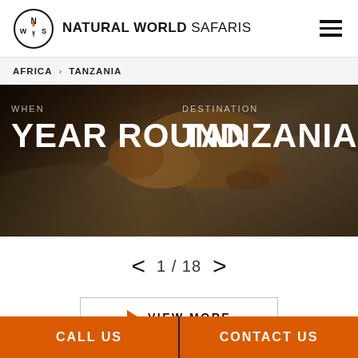NATURAL WORLD SAFARIS
AFRICA > TANZANIA
[Figure (photo): Hero banner showing a lion resting on a rock, with overlay text: WHEN / YEAR ROUND (left), DESTINATION / TANZANIA (right)]
< 1 / 18 >
VIEW MORE
CALL US | CONTACT US